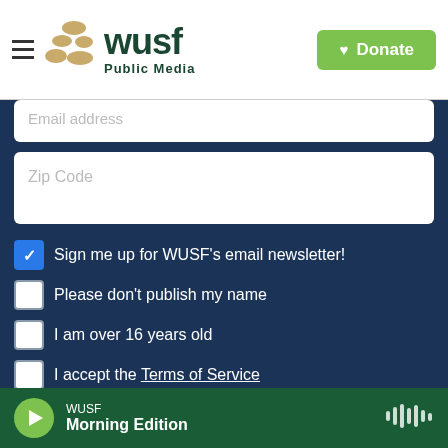[Figure (logo): WUSF Public Media logo with decorative dots and green text, plus hamburger menu icon]
[Figure (screenshot): Green Donate button with heart icon in top-right of header]
Email address
Zip Code
Sign me up for WUSF's email newsletter!
Please don't publish my name
I am over 16 years old
I accept the Terms of Service
Submit Question
This project is part of America Amplified.
Powered by Hearken | Terms of Service | Privacy Policy
WUSF Morning Edition